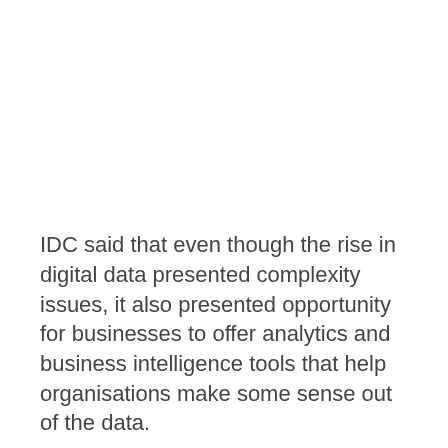IDC said that even though the rise in digital data presented complexity issues, it also presented opportunity for businesses to offer analytics and business intelligence tools that help organisations make some sense out of the data.